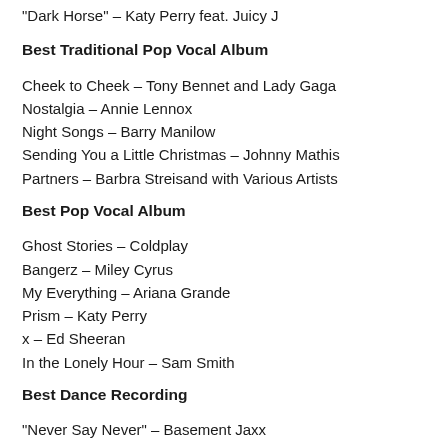“Dark Horse” – Katy Perry feat. Juicy J
Best Traditional Pop Vocal Album
Cheek to Cheek – Tony Bennet and Lady Gaga
Nostalgia – Annie Lennox
Night Songs – Barry Manilow
Sending You a Little Christmas – Johnny Mathis
Partners – Barbra Streisand with Various Artists
Best Pop Vocal Album
Ghost Stories – Coldplay
Bangerz – Miley Cyrus
My Everything – Ariana Grande
Prism – Katy Perry
x – Ed Sheeran
In the Lonely Hour – Sam Smith
Best Dance Recording
“Never Say Never” – Basement Jaxx
“Rather Be” – Clean Bandit feat. Jess Glynne
“F For You” – Disclosure feat. Mary J. Blige
“I Got U” – Duke Dumont feat. Jax Jones